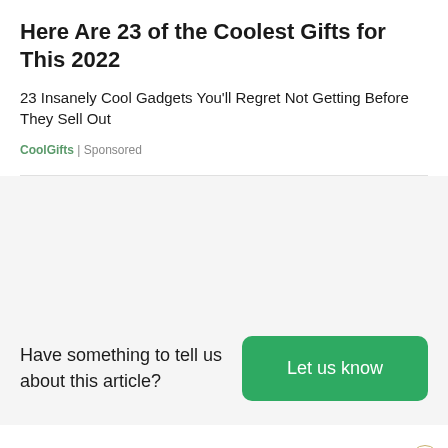Here Are 23 of the Coolest Gifts for This 2022
23 Insanely Cool Gadgets You'll Regret Not Getting Before They Sell Out
CoolGifts | Sponsored
[Figure (other): Gray placeholder image area for advertisement]
Have something to tell us about this article?
Let us know
[Figure (illustration): Decorative gold/tan wave line along bottom with a close (X) button circle]